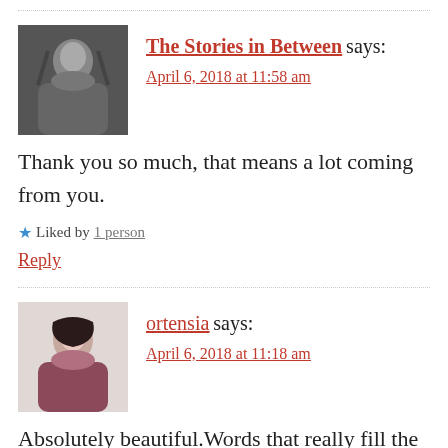[Figure (photo): Black and white avatar photo of a man with long hair and beard]
The Stories in Between says:
April 6, 2018 at 11:58 am
Thank you so much, that means a lot coming from you.
Liked by 1 person
Reply
[Figure (photo): Color avatar photo of a woman with dark hair]
ortensia says:
April 6, 2018 at 11:18 am
Absolutely beautiful.Words that really fill the hearths and souls.